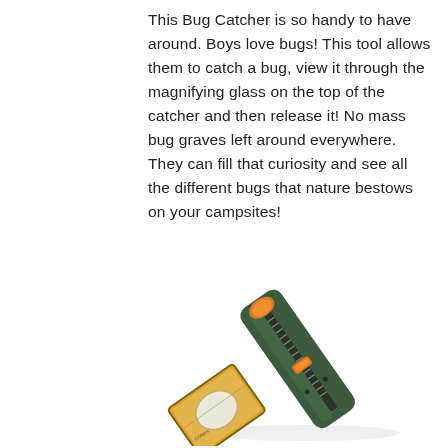This Bug Catcher is so handy to have around. Boys love bugs! This tool allows them to catch a bug, view it through the magnifying glass on the top of the catcher and then release it! No mass bug graves left around everywhere. They can fill that curiosity and see all the different bugs that nature bestows on your campsites!
[Figure (photo): A bug catcher tool with a dark green handle, orange button/accent on top, a clear rectangular magnifying chamber at the bottom with a magnifying lens, and a spring-loaded mechanism along the handle. The tool is photographed at an angle on a white background.]